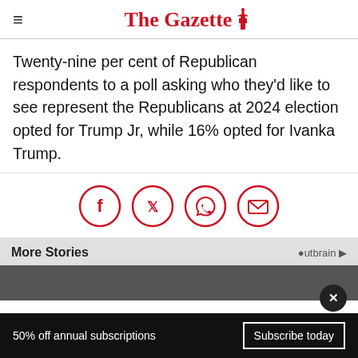The Gazette
Twenty-nine per cent of Republican respondents to a poll asking who they'd like to see represent the Republicans at 2024 election opted for Trump Jr, while 16% opted for Ivanka Trump.
[Figure (infographic): Social sharing icons: Facebook, Twitter, WhatsApp, Email — all in red circles]
More Stories
[Figure (photo): Partially visible dark image strip at bottom of page]
50% off annual subscriptions  Subscribe today